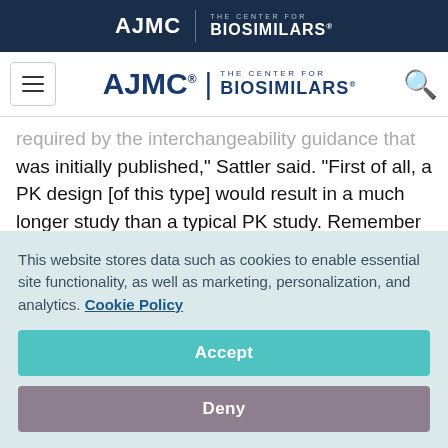AJMC | THE CENTER FOR BIOSIMILARS
[Figure (logo): AJMC The Center for Biosimilars navigation header with hamburger menu and search icon]
required by the interchangeability guidance that was initially published," Sattler said. "First of all, a PK design [of this type] would result in a much longer study than a typical PK study. Remember that these would be PK studies in patients, therefore recruitment and retention could be an
This website stores data such as cookies to enable essential site functionality, as well as marketing, personalization, and analytics. Cookie Policy
Accept
Deny